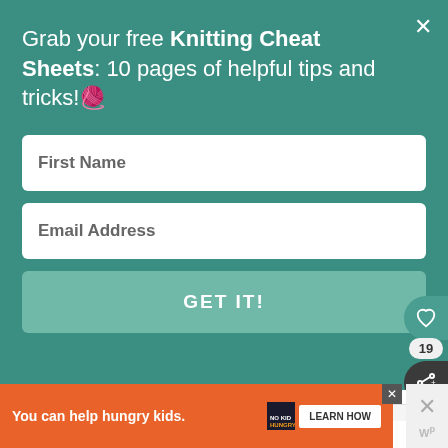Grab your free Knitting Cheat Sheets: 10 pages of helpful tips and tricks!🧶
First Name
Email Address
GET IT!
how to knit, this cast on method will seem like a piece of cake.
WHAT'S NEXT → How to Knit: Complete...
You can help hungry kids. NO KID HUNGRY LEARN HOW